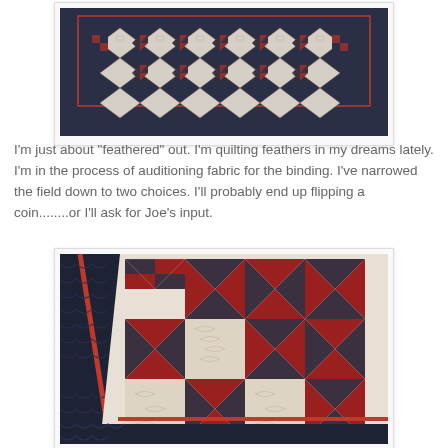[Figure (photo): Top-down view of a quilt with navy blue background, diamond pattern, cream/white squares with quilted feather designs, and red/dark floral pieced blocks arranged in a grid pattern with scalloped navy border]
I'm just about "feathered" out. I'm quilting feathers in my dreams lately. I'm in the process of auditioning fabric for the binding. I've narrowed the field down to two choices. I'll probably end up flipping a coin........or I'll ask for Joe's input.
[Figure (photo): Close-up angled view of a quilt showing navy blue border with red stripe accent, cream squares with feather quilting, and pieced blocks featuring red triangles and dark floral fabric in a pinwheel/star arrangement]